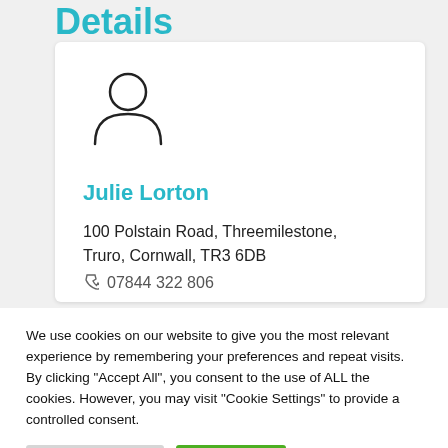Details
[Figure (illustration): Generic person/user silhouette icon in outline style]
Julie Lorton
100 Polstain Road, Threemilestone, Truro, Cornwall, TR3 6DB
07844 322 806
We use cookies on our website to give you the most relevant experience by remembering your preferences and repeat visits. By clicking "Accept All", you consent to the use of ALL the cookies. However, you may visit "Cookie Settings" to provide a controlled consent.
Cookie Settings
Accept All